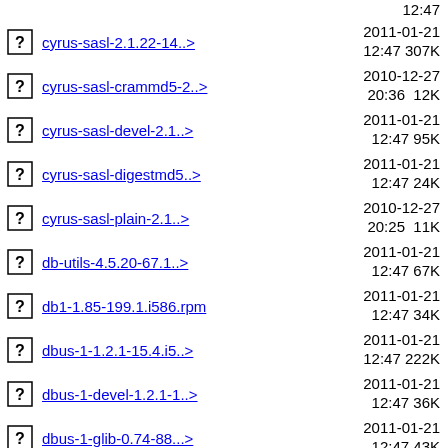12:47 (partial top row)
cyrus-sasl-2.1.22-14..>  2011-01-21 12:47  307K
cyrus-sasl-crammd5-2..>  2010-12-27 20:36  12K
cyrus-sasl-devel-2.1..>  2011-01-21 12:47  95K
cyrus-sasl-digestmd5..>  2011-01-21 12:47  24K
cyrus-sasl-plain-2.1..>  2010-12-27 20:25  11K
db-utils-4.5.20-67.1..>  2011-01-21 12:47  67K
db1-1.85-199.1.i586.rpm  2011-01-21 12:47  34K
dbus-1-1.2.1-15.4.i5..>  2011-01-21 12:47  222K
dbus-1-devel-1.2.1-1..>  2011-01-21 12:47  36K
dbus-1-glib-0.74-88...>  2011-01-21 12:47  43K
dbus-1-glib-devel-0....>  2011-01-21 12:47  80K